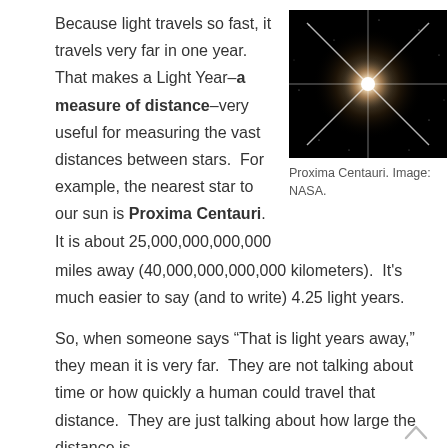Because light travels so fast, it travels very far in one year. That makes a Light Year–a measure of distance–very useful for measuring the vast distances between stars.  For example, the nearest star to our sun is Proxima Centauri.  It is about 25,000,000,000,000 miles away (40,000,000,000,000 kilometers).  It's much easier to say (and to write) 4.25 light years.
[Figure (photo): Hubble Space Telescope image of Proxima Centauri, a bright star with diffraction spikes against a black background with distant stars.]
Proxima Centauri. Image: NASA.
So, when someone says “That is light years away,” they mean it is very far.  They are not talking about time or how quickly a human could travel that distance.  They are just talking about how large the distance is.